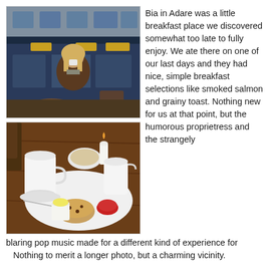[Figure (photo): Person standing outside a blue-fronted cafe/restaurant building called Bia in Adare, drinking from a cup, wearing a dark cardigan and scarf.]
[Figure (photo): Breakfast tray on a wooden table with white cups, saucers, a candle, a scone, small bowls of jam and butter, and a white pitcher.]
Bia in Adare was a little breakfast place we discovered somewhat too late to fully enjoy. We ate there on one of our last days and they had nice, simple breakfast selections like smoked salmon and grainy toast. Nothing new for us at that point, but the humorous proprietress and the strangely blaring pop music made for a different kind of experience for
blaring pop music made for a different kind of experience for Nothing to merit a longer photo, but a charming vicinity.